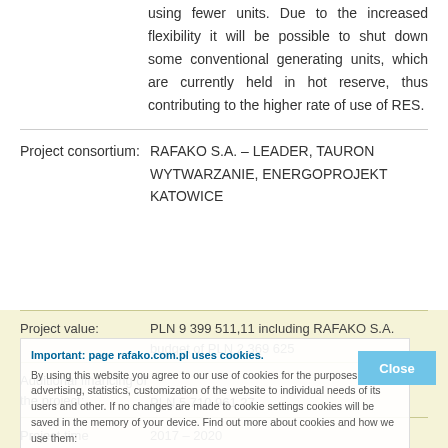using fewer units. Due to the increased flexibility it will be possible to shut down some conventional generating units, which are currently held in hot reserve, thus contributing to the higher rate of use of RES.
| Field | Value |
| --- | --- |
| Project consortium: | RAFAKO S.A. – LEADER, TAURON WYTWARZANIE, ENERGOPROJEKT KATOWICE |
| Project value: | PLN 9 399 511,11 including RAFAKO S.A. budget of PLN 2 369 625 |
| Additional financing of the project: | PLN 5 710 961,27 |
| Project time | 2017 – 2020 |
Important: page rafako.com.pl uses cookies. By using this website you agree to our use of cookies for the purposes of advertising, statistics, customization of the website to individual needs of its users and other. If no changes are made to cookie settings cookies will be saved in the memory of your device. Find out more about cookies and how we use them: "Cookie Policy".